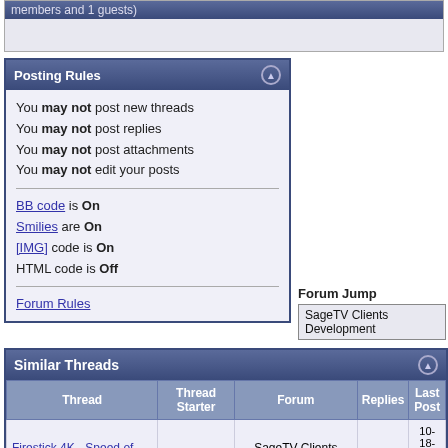members and 1 guests)
Posting Rules
You may not post new threads
You may not post replies
You may not post attachments
You may not edit your posts
BB code is On
Smilies are On
[IMG] code is On
HTML code is Off
Forum Rules
Forum Jump
SageTV Clients Development
Similar Threads
| Thread | Thread Starter | Forum | Replies | Last Post |
| --- | --- | --- | --- | --- |
| Firestick 4K - Speed of remote connection | hb4 | SageTV Clients Development | 9 | 10-18-2020 07:36 AM |
| Firestick 4k- no video from Colossus 2? | btrcp2000 | Hardware Support | 3 | 09-04-2020 02:33 PM |